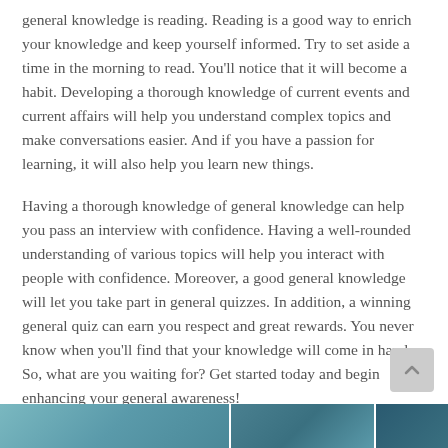general knowledge is reading. Reading is a good way to enrich your knowledge and keep yourself informed. Try to set aside a time in the morning to read. You'll notice that it will become a habit. Developing a thorough knowledge of current events and current affairs will help you understand complex topics and make conversations easier. And if you have a passion for learning, it will also help you learn new things.
Having a thorough knowledge of general knowledge can help you pass an interview with confidence. Having a well-rounded understanding of various topics will help you interact with people with confidence. Moreover, a good general knowledge will let you take part in general quizzes. In addition, a winning general quiz can earn you respect and great rewards. You never know when you'll find that your knowledge will come in handy. So, what are you waiting for? Get started today and begin enhancing your general awareness!
[Figure (photo): Partial landscape/nature photograph strip at the bottom of the page]